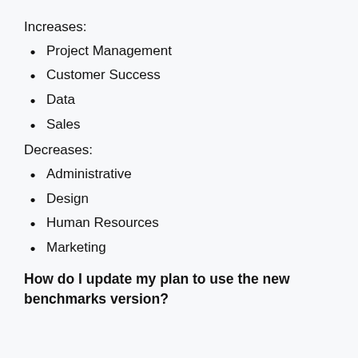Increases:
Project Management
Customer Success
Data
Sales
Decreases:
Administrative
Design
Human Resources
Marketing
How do I update my plan to use the new benchmarks version?